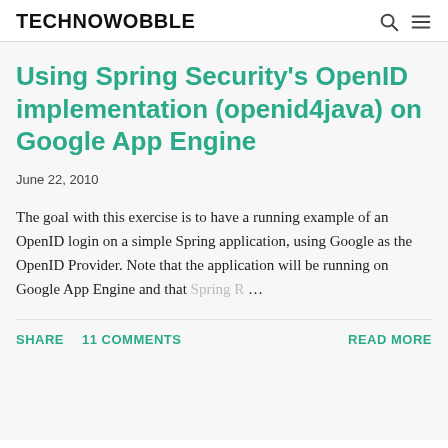TECHNOWOBBLE
Using Spring Security's OpenID implementation (openid4java) on Google App Engine
June 22, 2010
The goal with this exercise is to have a running example of an OpenID login on a simple Spring application, using Google as the OpenID Provider. Note that the application will be running on Google App Engine and that Spring R …
SHARE   11 COMMENTS   READ MORE